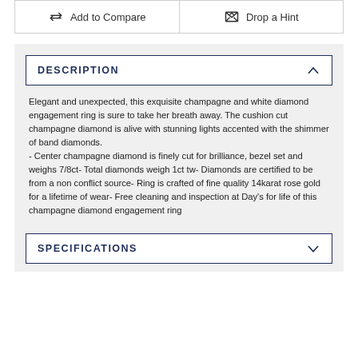[Figure (other): Two buttons: 'Add to Compare' with arrows icon, and 'Drop a Hint' with envelope icon]
DESCRIPTION
Elegant and unexpected, this exquisite champagne and white diamond engagement ring is sure to take her breath away. The cushion cut champagne diamond is alive with stunning lights accented with the shimmer of band diamonds. - Center champagne diamond is finely cut for brilliance, bezel set and weighs 7/8ct- Total diamonds weigh 1ct tw- Diamonds are certified to be from a non conflict source- Ring is crafted of fine quality 14karat rose gold for a lifetime of wear- Free cleaning and inspection at Day's for life of this champagne diamond engagement ring
SPECIFICATIONS